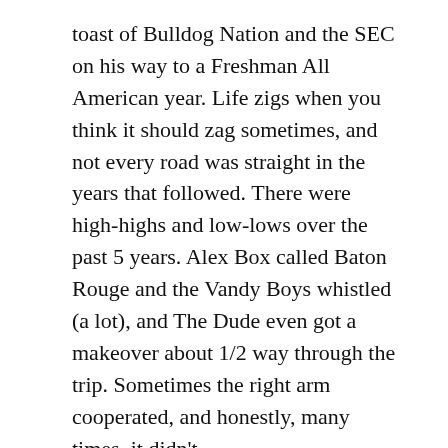toast of Bulldog Nation and the SEC on his way to a Freshman All American year. Life zigs when you think it should zag sometimes, and not every road was straight in the years that followed. There were high-highs and low-lows over the past 5 years. Alex Box called Baton Rouge and the Vandy Boys whistled (a lot), and The Dude even got a makeover about 1/2 way through the trip. Sometimes the right arm cooperated, and honestly, many times, it didn't.
In all of our lives, we reach a point when our sliders no longer slide and our cutters don't cut anymore. Athletic glory is intoxicating but all too fleeting. Today's hero is tomorrow's